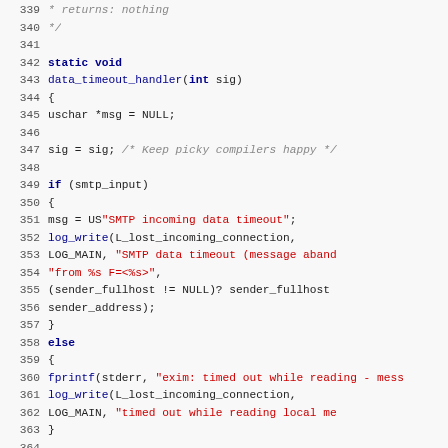[Figure (screenshot): Source code listing in C, lines 339-371, showing data_timeout_handler function with SMTP timeout handling logic]